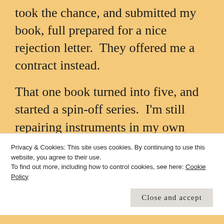took the chance, and submitted my book, full prepared for a nice rejection letter.  They offered me a contract instead.
That one book turned into five, and started a spin-off series.  I'm still repairing instruments in my own shop now, so my commute is much shorter.  I'm also still writing and enjoying every
Privacy & Cookies: This site uses cookies. By continuing to use this website, you agree to their use.
To find out more, including how to control cookies, see here: Cookie Policy
Close and accept